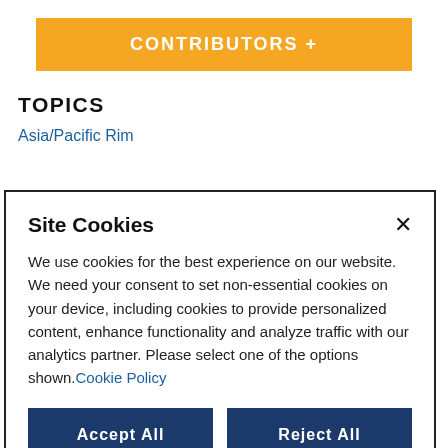CONTRIBUTORS +
TOPICS
Asia/Pacific Rim
Site Cookies
We use cookies for the best experience on our website. We need your consent to set non-essential cookies on your device, including cookies to provide personalized content, enhance functionality and analyze traffic with our analytics partner. Please select one of the options shown. Cookie Policy
Accept All
Reject All
Manage Options